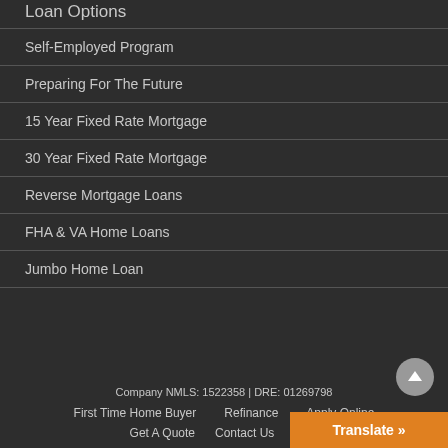Loan Options
Self-Employed Program
Preparing For The Future
15 Year Fixed Rate Mortgage
30 Year Fixed Rate Mortgage
Reverse Mortgage Loans
FHA & VA Home Loans
Jumbo Home Loan
Company NMLS: 1522358 | DRE: 01269798
First Time Home Buyer   Refinance   Apply Online   Get A Quote   Contact Us   Blog   Translate »